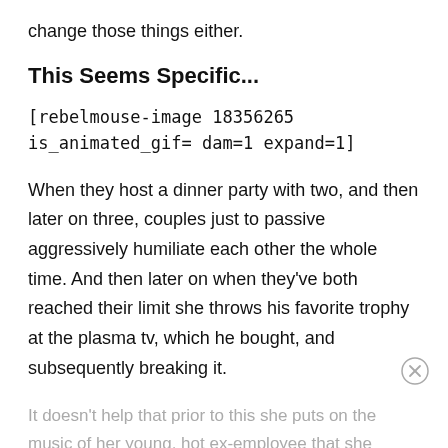change those things either.
This Seems Specific...
[rebelmouse-image 18356265 is_animated_gif= dam=1 expand=1]
When they host a dinner party with two, and then later on three, couples just to passive aggressively humiliate each other the whole time. And then later on when they've both reached their limit she throws his favorite trophy at the plasma tv, which he bought, and subsequently breaking it.
It doesn't help that prior to this she puts on the music of her young, hot ex-employee that she